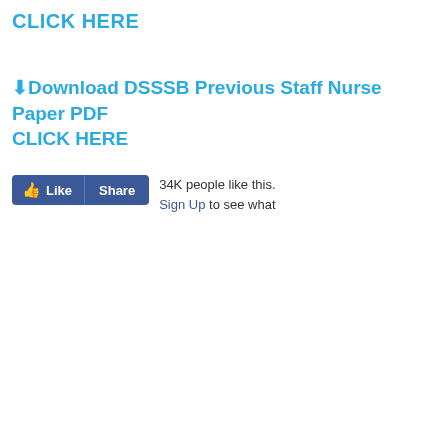CLICK HERE
⬇Download DSSSB Previous Staff Nurse Paper PDF CLICK HERE
[Figure (screenshot): Facebook Like and Share buttons widget with text '34K people like this. Sign Up to see what']